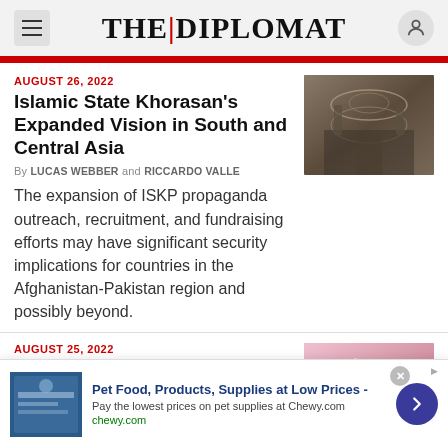THE | DIPLOMAT
AUGUST 26, 2022
Islamic State Khorasan’s Expanded Vision in South and Central Asia
By LUCAS WEBBER and RICCARDO VALLE
The expansion of ISKP propaganda outreach, recruitment, and fundraising efforts may have significant security implications for countries in the Afghanistan-Pakistan region and possibly beyond.
[Figure (photo): Photo of damaged or bombed out building interior, ornate arches visible, rubble on floor]
AUGUST 25, 2022
For Singapore’s LGBTQ+ Activists, Repealing Section
[Figure (photo): Photo of people at what appears to be a pink rally or protest, holding pink flags]
Pet Food, Products, Supplies at Low Prices - Pay the lowest prices on pet supplies at Chewy.com chewy.com